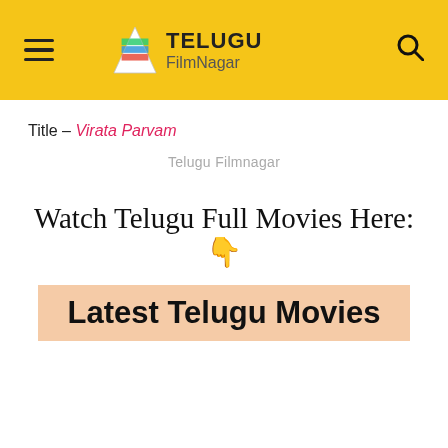Telugu FilmNagar
Title – Virata Parvam
Telugu Filmnagar
Watch Telugu Full Movies Here: 👇
Latest Telugu Movies